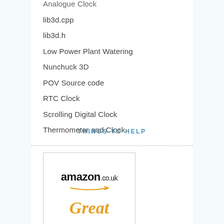Analogue Clock
lib3d.cpp
lib3d.h
Low Power Plant Watering
Nunchuck 3D
POV Source code
RTC Clock
Scrolling Digital Clock
Thermometer and Clock
THINGS TO HELP
[Figure (logo): Amazon.co.uk logo with arrow and the word 'Great' in orange italic below]